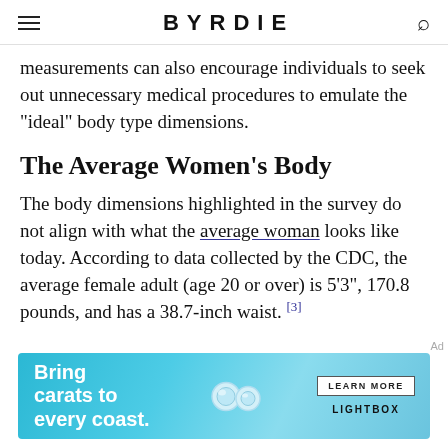BYRDIE
measurements can also encourage individuals to seek out unnecessary medical procedures to emulate the "ideal" body type dimensions.
The Average Women’s Body
The body dimensions highlighted in the survey do not align with what the average woman looks like today. According to data collected by the CDC, the average female adult (age 20 or over) is 5'3", 170.8 pounds, and has a 38.7-inch waist.[3]
[Figure (other): Advertisement banner for LIGHTBOX jewelry: 'Bring carats to every coast.' with diamond earring images and a LEARN MORE button.]